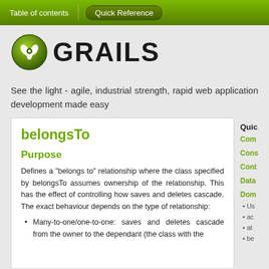Table of contents  |  Quick Reference
[Figure (logo): Grails logo: green circle with white bird/trident icon, followed by bold text 'GRAILS']
See the light - agile, industrial strength, rapid web application development made easy
belongsTo
Purpose
Defines a "belongs to" relationship where the class specified by belongsTo assumes ownership of the relationship. This has the effect of controlling how saves and deletes cascade. The exact behaviour depends on the type of relationship:
Many-to-one/one-to-one: saves and deletes cascade from the owner to the dependant (the class with the
Quic
Com
Cons
Cont
Data
Dom
Us
ac
at
be